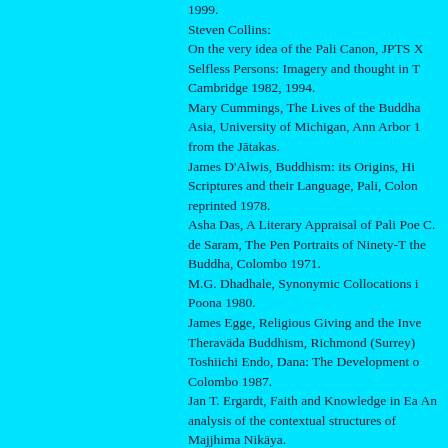1999.
Steven Collins:
On the very idea of the Pali Canon, JPTS X
Selfless Persons: Imagery and thought in T Cambridge 1982, 1994.
Mary Cummings, The Lives of the Buddha Asia, University of Michigan, Ann Arbor 1 from the Jātakas.
James D'Alwis, Buddhism: its Origins, Hi Scriptures and their Language, Pali, Colon reprinted 1978.
Asha Das, A Literary Appraisal of Pali Poe C. de Saram, The Pen Portraits of Ninety-T the Buddha, Colombo 1971.
M.G. Dhadhale, Synonymic Collocations i Poona 1980.
James Egge, Religious Giving and the Inve Theravāda Buddhism, Richmond (Surrey)
Toshiichi Endo, Dana: The Development o Colombo 1987.
Jan T. Ergardt, Faith and Knowledge in Ea An analysis of the contextual structures of Majjhima Nikāya.
J. Evola, The Doctrine of Awakening. A str London 1951, Rochester (Vermont) 1995.